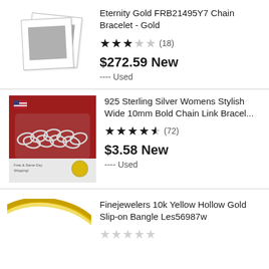[Figure (photo): Polaroid-style placeholder image for Eternity Gold bracelet]
Eternity Gold FRB21495Y7 Chain Bracelet - Gold
★★★☆☆ (18)
$272.59 New
---- Used
[Figure (photo): Photo of 925 sterling silver curb chain link bracelet on red fabric background]
925 Sterling Silver Womens Stylish Wide 10mm Bold Chain Link Bracel...
★★★★½ (72)
$3.58 New
---- Used
[Figure (photo): Partial photo of a gold bangle bracelet on white background]
Finejewelers 10k Yellow Hollow Gold Slip-on Bangle Les56987w
☆☆☆☆☆